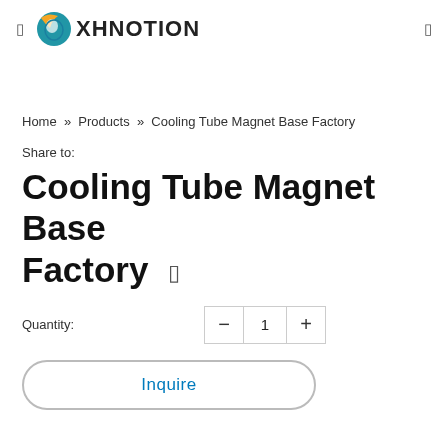XHNOTION
Home » Products » Cooling Tube Magnet Base Factory
Share to:
Cooling Tube Magnet Base Factory
Quantity: 1
Inquire